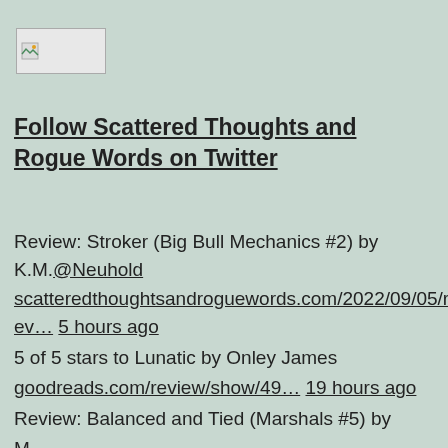[Figure (logo): Small logo image placeholder with broken image icon in top-left corner]
Follow Scattered Thoughts and Rogue Words on Twitter
Review: Stroker (Big Bull Mechanics #2) by K.M.@Neuhold scatteredthoughtsandroguewords.com/2022/09/05/rev… 5 hours ago
5 of 5 stars to Lunatic by Onley James goodreads.com/review/show/49… 19 hours ago
Review: Balanced and Tied (Marshals #5) by M...